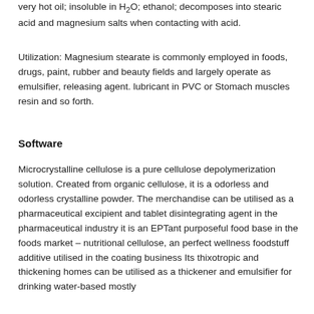very hot oil; insoluble in H2O; ethanol; decomposes into stearic acid and magnesium salts when contacting with acid.
Utilization: Magnesium stearate is commonly employed in foods, drugs, paint, rubber and beauty fields and largely operate as emulsifier, releasing agent. lubricant in PVC or Stomach muscles resin and so forth.
Software
Microcrystalline cellulose is a pure cellulose depolymerization solution. Created from organic cellulose, it is a odorless and odorless crystalline powder. The merchandise can be utilised as a pharmaceutical excipient and tablet disintegrating agent in the pharmaceutical industry it is an EPTant purposeful food base in the foods market – nutritional cellulose, an perfect wellness foodstuff additive utilised in the coating business Its thixotropic and thickening homes can be utilised as a thickener and emulsifier for drinking water-based mostly